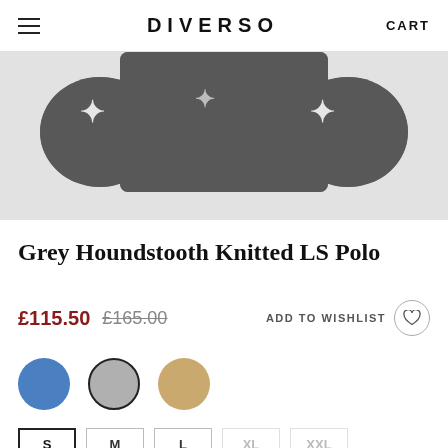DIVERSO
[Figure (photo): Grey houndstooth knitted polo sweater shown from above on a light grey background, displaying the sleeves and body of the garment with white houndstooth pattern on dark grey knit.]
Grey Houndstooth Knitted LS Polo
£115.50  £165.00  ADD TO WISHLIST
[Figure (illustration): Three color swatches: blue circle (selected), grey circle with dark border, and tan/beige circle.]
S  M  L  XL  XXL